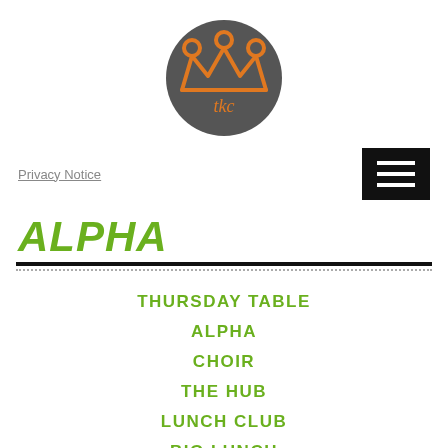[Figure (logo): TKC logo: dark grey circle with orange crown symbol and 'tkc' text below in orange]
Privacy Notice
ALPHA
THURSDAY TABLE
ALPHA
CHOIR
THE HUB
LUNCH CLUB
BIG LUNCH
PROJECT HOPE